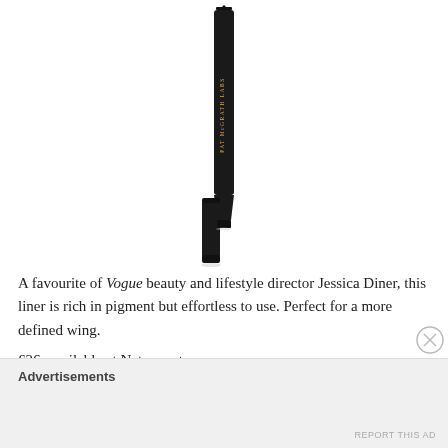[Figure (photo): A black eyeliner pen (PAT McGRATH LABS) shown uncapped and next to its cap, on white background]
A favourite of Vogue beauty and lifestyle director Jessica Diner, this liner is rich in pigment but effortless to use. Perfect for a more defined wing.
£26, available at Net-a-porter.com.
Best Eyeliner For Sensitive Eyes: La Bouche Rouge Le Kôhl Noir
Advertisements